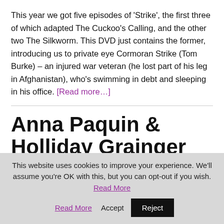This year we got five episodes of 'Strike', the first three of which adapted The Cuckoo's Calling, and the other two The Silkworm. This DVD just contains the former, introducing us to private eye Cormoran Strike (Tom Burke) – an injured war veteran (he lost part of his leg in Afghanistan), who's swimming in debt and sleeping in his office. [Read more…]
Anna Paquin & Holliday Grainger To Star in...
This website uses cookies to improve your experience. We'll assume you're OK with this, but you can opt-out if you wish. Read More Accept Reject